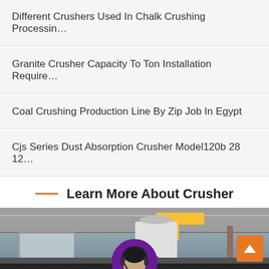Different Crushers Used In Chalk Crushing Processin…
Granite Crusher Capacity To Ton Installation Require…
Coal Crushing Production Line By Zip Job In Egypt
Cjs Series Dust Absorption Crusher Model120b 28 12…
Learn More About Crusher
[Figure (photo): Industrial factory interior with white silo tank, overhead crane, and machinery equipment]
Leave Message
Chat Online